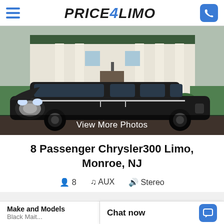Price4Limo
[Figure (photo): Black stretch Chrysler 300 limousine parked in front of a large white colonial-style mansion with columns]
View More Photos
8 Passenger Chrysler300 Limo, Monroe, NJ
8  AUX  Stereo
Make and Models  Chat now